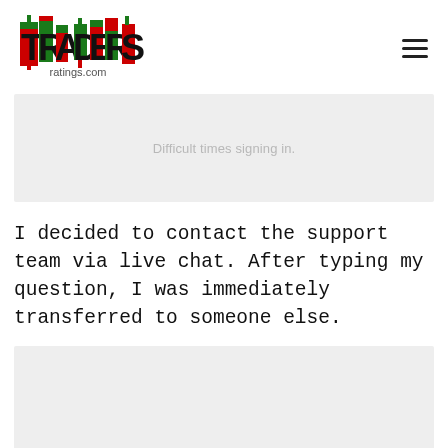[Figure (logo): Traders Ratings logo with candlestick chart style lettering in green, red, and black, with 'ratings.com' text below]
[Figure (screenshot): Gray placeholder image box with caption 'Difficult times signing in.']
I decided to contact the support team via live chat. After typing my question, I was immediately transferred to someone else.
[Figure (screenshot): Gray placeholder image box, partially visible at bottom of page]